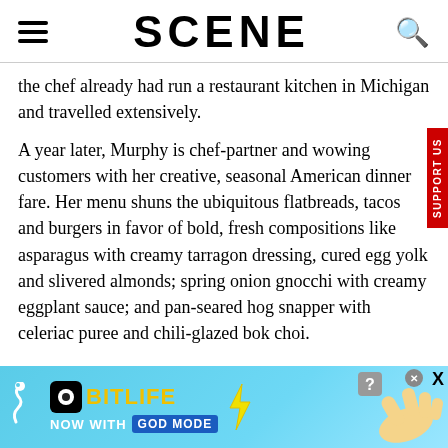SCENE
the chef already had run a restaurant kitchen in Michigan and travelled extensively.
A year later, Murphy is chef-partner and wowing customers with her creative, seasonal American dinner fare. Her menu shuns the ubiquitous flatbreads, tacos and burgers in favor of bold, fresh compositions like asparagus with creamy tarragon dressing, cured egg yolk and slivered almonds; spring onion gnocchi with creamy eggplant sauce; and pan-seared hog snapper with celeriac puree and chili-glazed bok choi.
[Figure (screenshot): BitLife advertisement banner with 'NOW WITH GOD MODE' text on a light blue background with cartoon hand graphics]